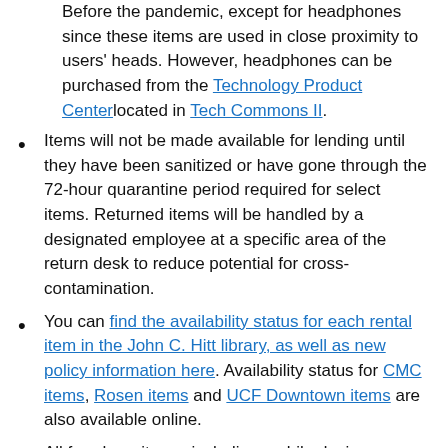Before the pandemic, except for headphones since these items are used in close proximity to users' heads. However, headphones can be purchased from the Technology Product Center located in Tech Commons II.
Items will not be made available for lending until they have been sanitized or have gone through the 72-hour quarantine period required for select items. Returned items will be handled by a designated employee at a specific area of the return desk to reduce potential for cross-contamination.
You can find the availability status for each rental item in the John C. Hitt library, as well as new policy information here. Availability status for CMC items, Rosen items and UCF Downtown items are also available online.
All four-hour items, including mobile device charging cables, portable battery packs and select laptops, will have their loan periods changed to 24-